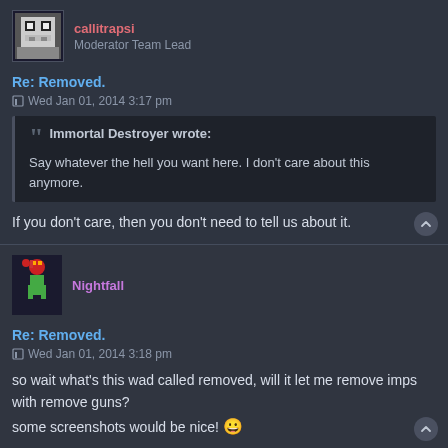[Figure (illustration): Forum post avatar for moderator user, pixel art style face]
callitrapsi
Moderator Team Lead
Re: Removed.
Wed Jan 01, 2014 3:17 pm
Immortal Destroyer wrote:
Say whatever the hell you want here. I don't care about this anymore.
If you don't care, then you don't need to tell us about it.
[Figure (illustration): Forum post avatar for Nightfall user, pixel art style character]
Nightfall
Re: Removed.
Wed Jan 01, 2014 3:18 pm
so wait what's this wad called removed, will it let me remove imps with remove guns?
some screenshots would be nice! 😀
Immortal Destroyer